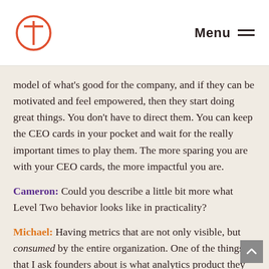T Menu
model of what's good for the company, and if they can be motivated and feel empowered, then they start doing great things. You don't have to direct them. You can keep the CEO cards in your pocket and wait for the really important times to play them. The more sparing you are with your CEO cards, the more impactful you are.
Cameron: Could you describe a little bit more what Level Two behavior looks like in practicality?
Michael: Having metrics that are not only visible, but consumed by the entire organization. One of the things that I ask founders about is what analytics product they are using, and how many